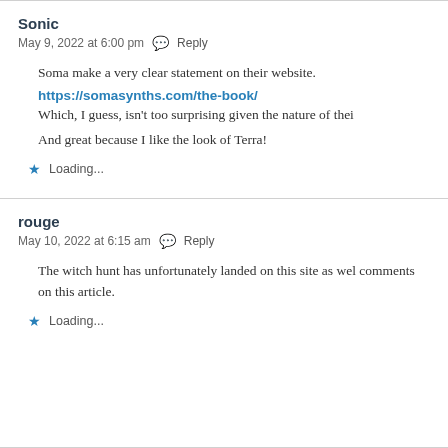Sonic
May 9, 2022 at 6:00 pm  Reply
Soma make a very clear statement on their website.
https://somasynths.com/the-book/
Which, I guess, isn't too surprising given the nature of thei
And great because I like the look of Terra!
Loading...
rouge
May 10, 2022 at 6:15 am  Reply
The witch hunt has unfortunately landed on this site as wel comments on this article.
Loading...